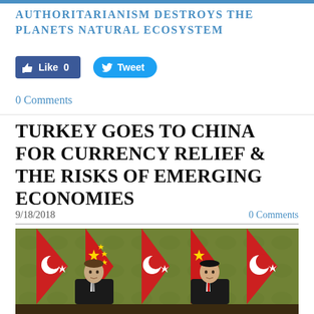AUTHORITARIANISM DESTROYS THE PLANETS NATURAL ECOSYSTEM
[Figure (other): Facebook Like button showing 0 likes and Twitter Tweet button]
0 Comments
TURKEY GOES TO CHINA FOR CURRENCY RELIEF & THE RISKS OF EMERGING ECONOMIES
9/18/2018
0 Comments
[Figure (photo): Photo of two leaders seated at a table in front of alternating Turkish and Chinese flags. Left figure appears to be Turkish President Erdogan, right figure appears to be Chinese President Xi Jinping.]